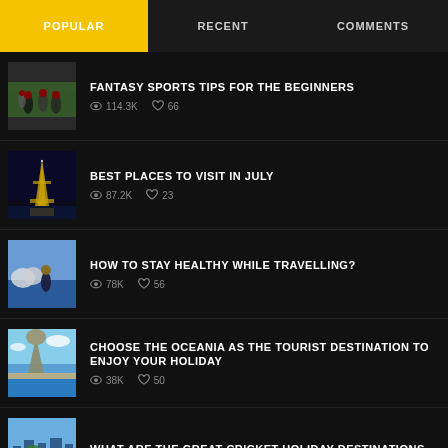POPULAR | RECENT | COMMENTS
FANTASY SPORTS TIPS FOR THE BEGINNERS — 114.3K views, 66 likes
BEST PLACES TO VISIT IN JULY — 87.2K views, 23 likes
HOW TO STAY HEALTHY WHILE TRAVELLING? — 78K views, 56 likes
CHOOSE THE OCEANIA AS THE TOURIST DESTINATION TO ENJOY YOUR HOLIDAY — 38K views, 50 likes
WHAT ARE THE GREAT CRICKET HOLIDAY DESTINATIONS